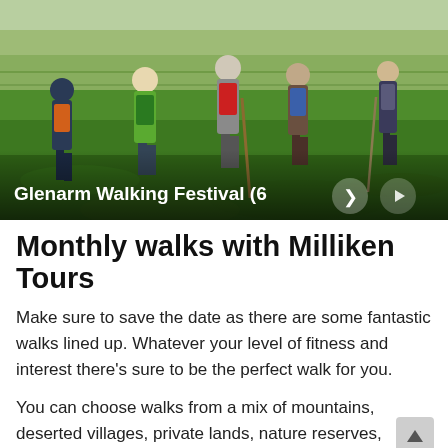[Figure (photo): Outdoor photograph showing six walkers with backpacks viewed from behind, walking up a green hillside with fields and hedgerows visible in the background. Caption overlay reads 'Glenarm Walking Festival (6' with navigation arrows.]
Monthly walks with Milliken Tours
Make sure to save the date as there are some fantastic walks lined up. Whatever your level of fitness and interest there's sure to be the perfect walk for you.
You can choose walks from a mix of mountains, deserted villages, private lands, nature reserves,